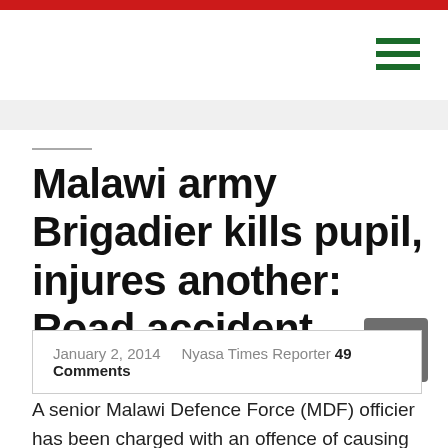Malawi army Brigadier kills pupil, injures another: Road accident
January 2, 2014  Nyasa Times Reporter 49 Comments
A senior Malawi Defence Force (MDF) officier has been charged with an offence of causing death by reckless driving after an official vehicle he was driving hit and killed on the spot a standard school children...